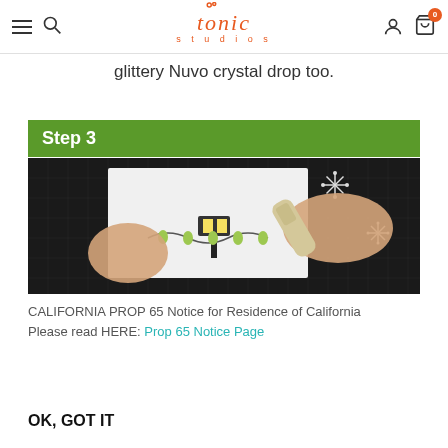tonic studios — navigation header with hamburger menu, search, user icon, and cart (0)
glittery Nuvo crystal drop too.
Step 3
[Figure (photo): Hands applying a glue stick/adhesive to a Christmas-themed card on a cutting mat. The card shows a lantern with lights. Snowflake decorations visible in the background.]
CALIFORNIA PROP 65 Notice for Residence of California Please read HERE: Prop 65 Notice Page
OK, GOT IT